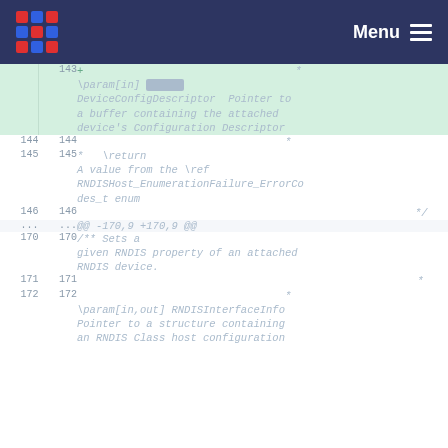Menu
[Figure (screenshot): Code diff view showing lines 143-172 of a C source file with line numbers on left side and code content on right. Line 143 is highlighted in green as an added line containing a \param[in] documentation comment for DeviceConfigDescriptor. Lines 144-146 show comment continuation. Lines 145-146 show \return documentation for RNDISHost_EnumerationFailure_ErrorCodes_t enum. A @@ -170,9 +170,9 @@ diff marker appears, followed by lines 170-172 showing /** Sets a given RNDIS property of an attached RNDIS device. documentation and \param[in,out] RNDISInterfaceInfo Pointer to a structure containing an RNDIS Class host configuration.]